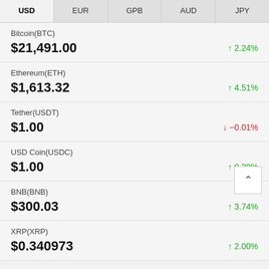| USD | EUR | GPB | AUD | JPY |
| --- | --- | --- | --- | --- |
| Bitcoin(BTC) | $21,491.00 | ↑ 2.24% |
| Ethereum(ETH) | $1,613.32 | ↑ 4.51% |
| Tether(USDT) | $1.00 | ↓ −0.01% |
| USD Coin(USDC) | $1.00 | ↑ 0.29% |
| BNB(BNB) | $300.03 | ↑ 3.74% |
| XRP(XRP) | $0.340973 | ↑ 2.00% |